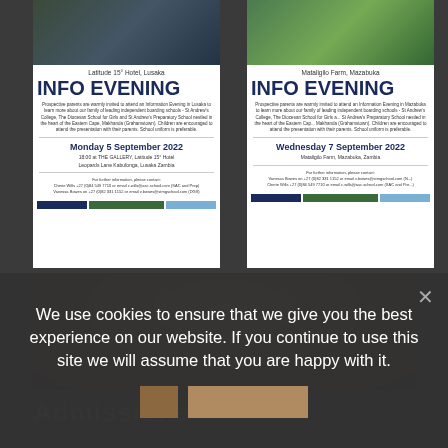[Figure (photo): Two school students and an adult in school uniforms, left flyer top photo]
Latitude 15° Hotel, Lusaka
INFO EVENING
Prospective parents are warmly invited to attend an Information Evening in Lusaka to learn more about our family of leading independent boarding schools - St Andrew's College, The Diocesan School for Girls and St Andrew's Preparatory School nestled in the heart of the Eastern Cape, Makhanda (Grahamstown). Children are encouraged to attend the presentation with their parents. School uniform is preferable.
Monday 5 September 2022
18:00 at THE GALLERY, Latitude 15° Hotel
Leopards Lane Kabufonga, Lusaka Zambia
For further information, please contact:
Cherie Wills +27 (0)84 549 7710 or email c.wills@asc.school.com (SAC and Prep)
Vanessa Bowes on +27 (0)82 331 1152 or email v.bowes@stmgschool.com (DGS)
[Figure (photo): School students sitting on grass in green uniforms, right flyer top photo]
Mataligilo Farm, Mazabuka
INFO EVENING
Prospective parents are warmly invited to attend an Information Evening in Mazabuka to learn more about our family of leading independent boarding schools - St Andrew's College, The Diocesan School for Girls and St Andrew's Preparatory School nestled in the heart of the Eastern Cape, Makhanda (Grahamstown). Children are encouraged to attend the presentation with their parents. School uniform is preferable.
Wednesday 7 September 2022
Mataligilo Farm, Mazabuka, Zambia
For further information, please contact:
Vanessa Bowes on +27 (0)82 331 1152 or email v.bowes@stmgschool.com (N...)
Cherie Wills +27 (0)84 549 7710 or email c.wills@asc.school.com (SAC and Pre...)
[Figure (photo): Close-up of child's head with brown hair]
Admissions
We use cookies to ensure that we give you the best experience on our website. If you continue to use this site we will assume that you are happy with it.